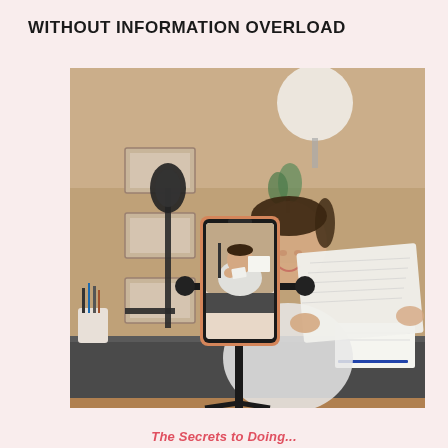WITHOUT INFORMATION OVERLOAD
[Figure (photo): A woman sitting at a desk holds up a large piece of paper/blueprint. In the foreground, a smartphone mounted on a tripod/stand shows a preview of her on the screen. A microphone is visible to her left. The background shows a wooden wall with framed pictures and a round white lamp. The setting appears to be a home studio or office.]
The Secrets to Doing...